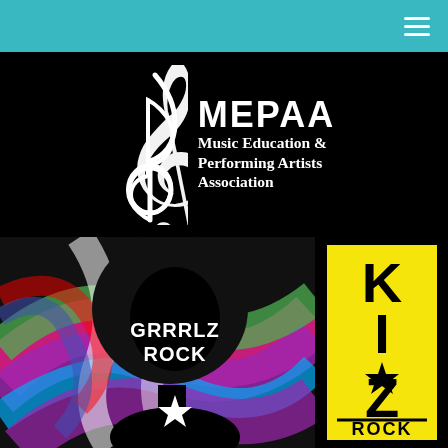Navigation header with hamburger menu
[Figure (logo): MEPAA - Music Education & Performing Artists Association logo on black background with treble clef symbol]
[Figure (logo): Grrrlz Rock logo - silhouette of person with afro and star, colorful swirl background]
[Figure (logo): KIDZ ROCK logo in black text on yellow rectangle]